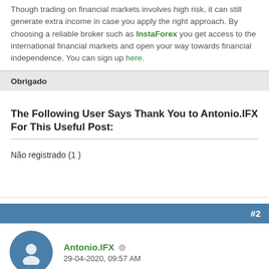Though trading on financial markets involves high risk, it can still generate extra income in case you apply the right approach. By choosing a reliable broker such as InstaForex you get access to the international financial markets and open your way towards financial independence. You can sign up here.
Obrigado
The Following User Says Thank You to Antonio.IFX For This Useful Post:
Não registrado (1 )
#2
Antonio.IFX  29-04-2020, 09:57 AM
-
Contas recomendadas